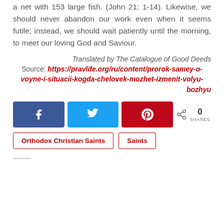a net with 153 large fish. (John 21: 1-14). Likewise, we should never abandon our work even when it seems futile; instead, we should wait patiently until the morning, to meet our loving God and Saviour.
Translated by The Catalogue of Good Deeds
Source: https://pravlife.org/ru/content/prorok-samey-o-voyne-i-situacii-kogda-chelovek-mozhet-izmenit-volyu-bozhyu
[Figure (infographic): Social share buttons: Facebook (blue), Twitter (cyan), Pinterest (red), share icon with count 0 SHARES]
Orthodox Christian Saints
Saints